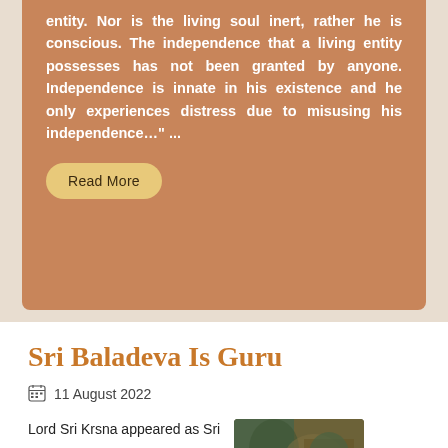entity. Nor is the living soul inert, rather he is conscious. The independence that a living entity possesses has not been granted by anyone. Independence is innate in his existence and he only experiences distress due to misusing his independence…" ...
Read More
Sri Baladeva Is Guru
11 August 2022
Lord Sri Krsna appeared as Sri
[Figure (photo): A photograph showing what appears to be a religious/devotional image or deity decoration with greenish and brownish tones.]